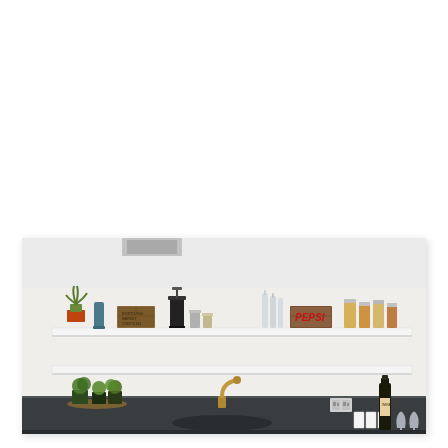[Figure (photo): Interior kitchen photograph showing white open shelving mounted on a white wall. The upper shelf displays a potted aloe plant, a teal/blue vase, a vintage wooden crate, a black French press, metallic cups, glass bottles, a vintage Pepsi wooden crate, and various glass storage jars with coloured contents. The lower shelf is white and minimalist. Below, a dark grey/black countertop holds potted fresh herb plants, a brass/gold modern kitchen faucet over a sink, white electrical outlets, a wine bottle, two wine glasses, and white ceramic containers. The ceiling shows a white room with a grey skylight vent.]